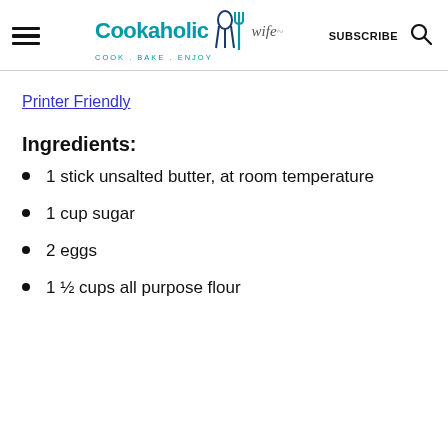Cookaholic Wife — COOK . BAKE . ENJOY — SUBSCRIBE
Printer Friendly
Ingredients:
1 stick unsalted butter, at room temperature
1 cup sugar
2 eggs
1 ½ cups all purpose flour